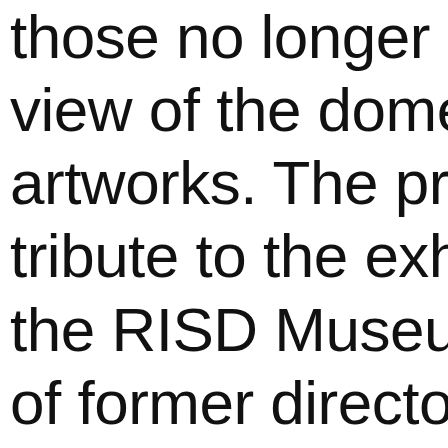those no longer alive view of the domestic artworks. The project tribute to the exhibit the RISD Museum a of former director Al who created immersi environments to enh visitor's experience